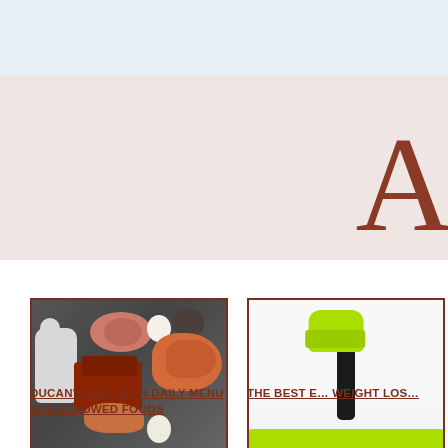[Figure (other): Light blue banner/header bar at the top of the page]
[Figure (other): Pink/blush colored banner section with a large decorative letter 'A' in dark red on the right side]
[Figure (photo): Food photo showing various protein foods: milk jug, raw meat, ham slices, salmon steaks, shrimp, eggs, dark beans in a bowl, on a dark surface]
DUCAN'S DIET WITH DAILY MENU AND ALLOWED FOODS
[Figure (photo): Exercise photo showing a person holding a green/yellow sneaker, lying on a green exercise mat]
THE BEST E… WEIGHT LOS…